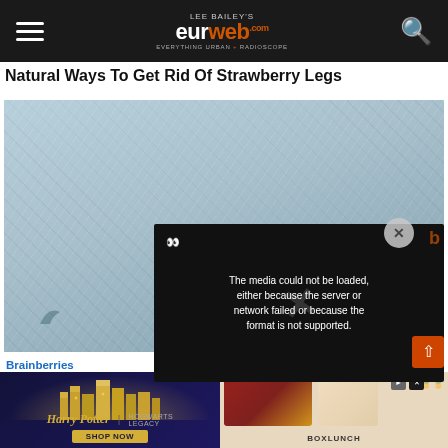Lee Bailey's eurweb.com — EVERYTHING URBAN + RADIOSCOPE
Natural Ways To Get Rid Of Strawberry Legs
[Figure (photo): Blue-grey textured fabric or surface close-up photo, occupying most of the upper content area]
[Figure (screenshot): Video player error overlay on dark background reading: The media could not be loaded, either because the server or network failed or because the format is not supported.]
Brainberries
7 Of T Theor
[Figure (photo): Advertisement banner: Harry Potter Hogwarts merchandise ad on left (dark blue with golden castle illustration, Harry Potter logo, SHOP NOW button) and BoxLunch branded merchandise on right (scarves and accessories on warm-toned background)]